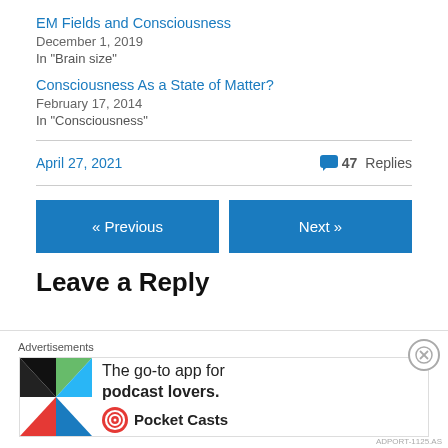EM Fields and Consciousness
December 1, 2019
In "Brain size"
Consciousness As a State of Matter?
February 17, 2014
In "Consciousness"
April 27, 2021    💬 47 Replies
« Previous
Next »
Leave a Reply
[Figure (infographic): Advertisement banner for Pocket Casts app: 'The go-to app for podcast lovers.' with colorful pinwheel logo]